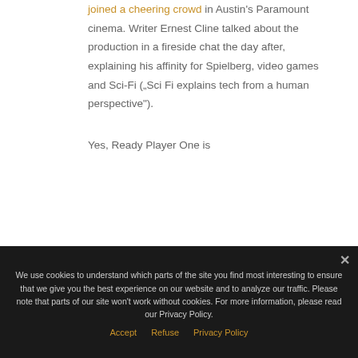joined a cheering crowd in Austin's Paramount cinema. Writer Ernest Cline talked about the production in a fireside chat the day after, explaining his affinity for Spielberg, video games and Sci-Fi („Sci Fi explains tech from a human perspective").
Yes, Ready Player One is
We use cookies to understand which parts of the site you find most interesting to ensure that we give you the best experience on our website and to analyze our traffic. Please note that parts of our site won't work without cookies. For more information, please read our Privacy Policy.
Accept   Refuse   Privacy Policy